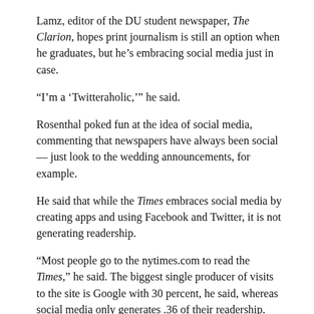Lamz, editor of the DU student newspaper, The Clarion, hopes print journalism is still an option when he graduates, but he's embracing social media just in case.
“I’m a ‘Twitteraholic,’” he said.
Rosenthal poked fun at the idea of social media, commenting that newspapers have always been social — just look to the wedding announcements, for example.
He said that while the Times embraces social media by creating apps and using Facebook and Twitter, it is not generating readership.
“Most people go to the nytimes.com to read the Times,” he said. The biggest single producer of visits to the site is Google with 30 percent, he said, whereas social media only generates .36 of their readership.
Rosenthal said the Times is considering a metered model, where site visitors would pay when they reached a certain level of readership.
He said in his opinion, there should always have been a fee for news content.